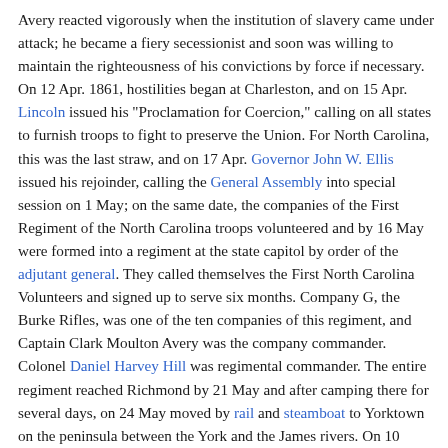Avery reacted vigorously when the institution of slavery came under attack; he became a fiery secessionist and soon was willing to maintain the righteousness of his convictions by force if necessary. On 12 Apr. 1861, hostilities began at Charleston, and on 15 Apr. Lincoln issued his "Proclamation for Coercion," calling on all states to furnish troops to fight to preserve the Union. For North Carolina, this was the last straw, and on 17 Apr. Governor John W. Ellis issued his rejoinder, calling the General Assembly into special session on 1 May; on the same date, the companies of the First Regiment of the North Carolina troops volunteered and by 16 May were formed into a regiment at the state capitol by order of the adjutant general. They called themselves the First North Carolina Volunteers and signed up to serve six months. Company G, the Burke Rifles, was one of the ten companies of this regiment, and Captain Clark Moulton Avery was the company commander. Colonel Daniel Harvey Hill was regimental commander. The entire regiment reached Richmond by 21 May and after camping there for several days, on 24 May moved by rail and steamboat to Yorktown on the peninsula between the York and the James rivers. On 10 June, Colonel Hill's troops, with several Virginia companies, were attacked by a Union force of